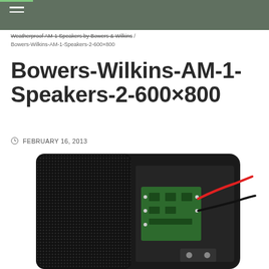Weatherproof AM-1 Speakers by Bowers & Wilkins / Bowers-Wilkins-AM-1-Speakers-2-600×800
Bowers-Wilkins-AM-1-Speakers-2-600×800
FEBRUARY 16, 2013
[Figure (photo): Close-up photo of a Bowers & Wilkins AM-1 outdoor speaker showing the rear panel with a green circuit board, red and black wiring, and black speaker enclosure with mesh grille]